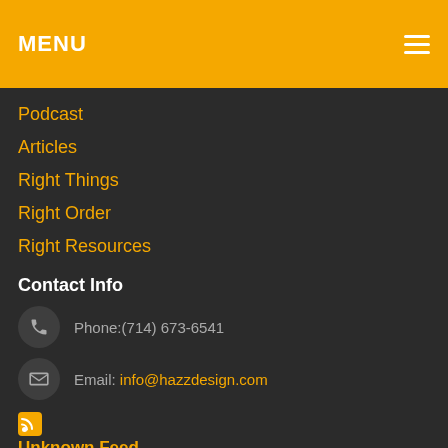MENU
Podcast
Articles
Right Things
Right Order
Right Resources
Contact Info
Phone:(714) 673-6541
Email: info@hazzdesign.com
Unknown Feed
Connect With Us